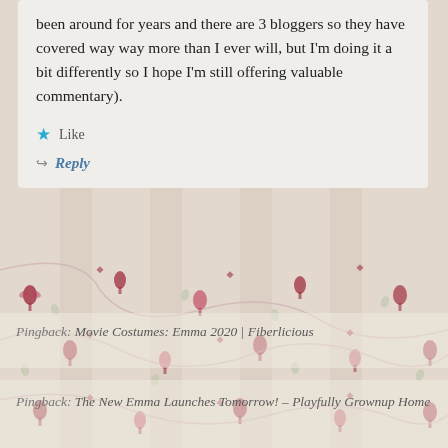been around for years and there are 3 bloggers so they have covered way way more than I ever will, but I'm doing it a bit differently so I hope I'm still offering valuable commentary).
Like
Reply
Pingback: Movie Costumes: Emma 2020 | Fiberlicious
Pingback: The New Emma Launches Tomorrow! – Playfully Grownup Home
Pingback: Emma. Review of the 2020 Movie – Faith, Science, Joy, ... and Jane Austen!